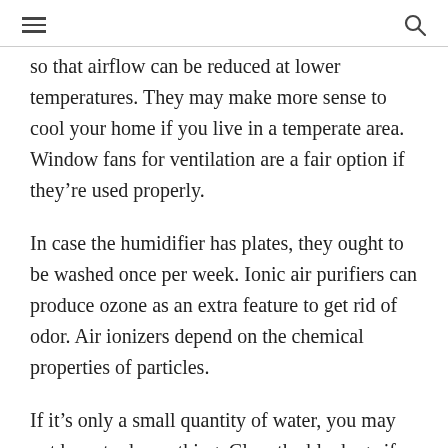≡  🔍
so that airflow can be reduced at lower temperatures. They may make more sense to cool your home if you live in a temperate area. Window fans for ventilation are a fair option if they're used properly.
In case the humidifier has plates, they ought to be washed once per week. Ionic air purifiers can produce ozone as an extra feature to get rid of odor. Air ionizers depend on the chemical properties of particles.
If it's only a small quantity of water, you may not have to do anything. Clear the blockage if there's one, because it will enable the water to properly exit the condenser pan and you ought to observe the pooling